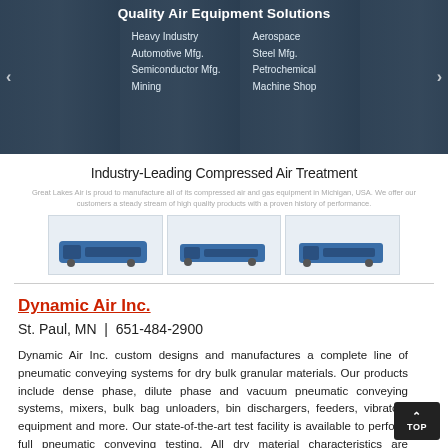[Figure (screenshot): Website hero banner with dark industrial background showing 'Quality Air Equipment Solutions' heading and two columns of industry categories: Heavy Industry, Automotive Mfg., Semiconductor Mfg., Mining on left; Aerospace, Steel Mfg., Petrochemical, Machine Shop on right. Navigation arrows on sides.]
Industry-Leading Compressed Air Treatment
Great Lakes Air is proud to manufacture all of its compressed air and gas equipment in Michigan, USA. We offer our customers a steady stream of high quality products with a proven history of performance.
[Figure (photo): Three images of blue industrial compressed air equipment/dryers shown in a row.]
Dynamic Air Inc.
St. Paul, MN  |  651-484-2900
Dynamic Air Inc. custom designs and manufactures a complete line of pneumatic conveying systems for dry bulk granular materials. Our products include dense phase, dilute phase and vacuum pneumatic conveying systems, mixers, bulk bag unloaders, bin dischargers, feeders, vibratory equipment and more. Our state-of-the-art test facility is available to perform full pneumatic conveying testing. All dry material characteristics are analyzed to determine their exact handling and product performance values.